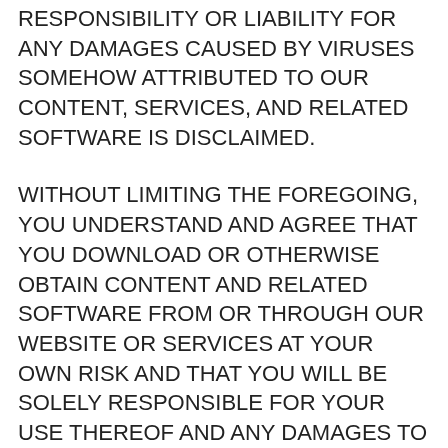RESPONSIBILITY OR LIABILITY FOR ANY DAMAGES CAUSED BY VIRUSES SOMEHOW ATTRIBUTED TO OUR CONTENT, SERVICES, AND RELATED SOFTWARE IS DISCLAIMED.
WITHOUT LIMITING THE FOREGOING, YOU UNDERSTAND AND AGREE THAT YOU DOWNLOAD OR OTHERWISE OBTAIN CONTENT AND RELATED SOFTWARE FROM OR THROUGH OUR WEBSITE OR SERVICES AT YOUR OWN RISK AND THAT YOU WILL BE SOLELY RESPONSIBLE FOR YOUR USE THEREOF AND ANY DAMAGES TO YOUR MOBILE DEVICE OR COMPUTER SYSTEM, LOSS OF DATA, OR OTHER HARM OF ANY KIND THAT MAY RESULT. WE AND ALL OUR AFFILIATES ARE NOT LIABLE FOR ANY INDIRECT, SPECIAL, INCIDENTAL, OR